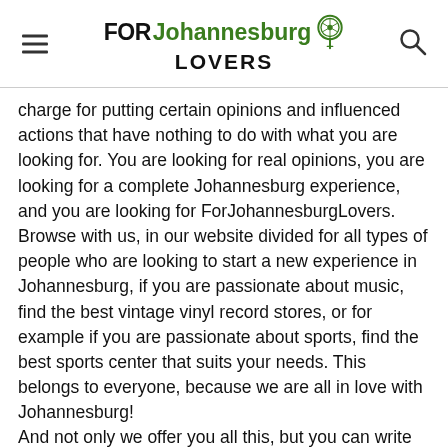FOR Johannesburg LOVERS
charge for putting certain opinions and influenced actions that have nothing to do with what you are looking for. You are looking for real opinions, you are looking for a complete Johannesburg experience, and you are looking for ForJohannesburgLovers.
Browse with us, in our website divided for all types of people who are looking to start a new experience in Johannesburg, if you are passionate about music, find the best vintage vinyl record stores, or for example if you are passionate about sports, find the best sports center that suits your needs. This belongs to everyone, because we are all in love with Johannesburg!
And not only we offer you all this, but you can write to us and we will advise you directly our humble opinion on where you want to go or what you want to do.